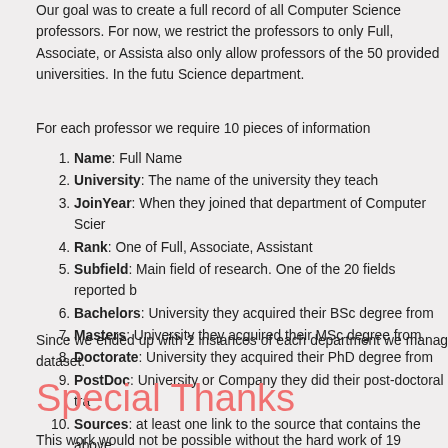Our goal was to create a full record of all Computer Science professors. For now, we restrict the professors to only Full, Associate, or Assistant professors. We also only allow professors of the 50 provided universities. In the future, any Computer Science department.
For each professor we require 10 pieces of information
Name: Full Name
University: The name of the university they teach
JoinYear: When they joined that department of Computer Science
Rank: One of Full, Associate, Assistant
Subfield: Main field of research. One of the 20 fields reported b
Bachelors: University they acquired their BSc degree from
Masters: University they acquired their MSc degree from
Doctorate: University they acquired their PhD degree from
PostDoc: University or Company they did their post-doctoral training
Sources: at least one link to the source that contains the above
Since we ended up with 2 instances of each department we managed dataset.
Special Thanks
This work would not be possible without the hard work of 19 exception